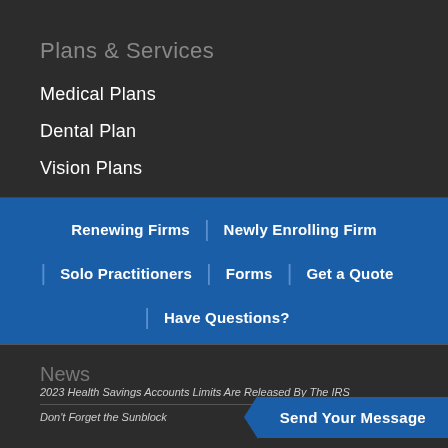Plans & Services
Medical Plans
Dental Plan
Vision Plans
Renewing Firms
Newly Enrolling Firm
Solo Practitioners
Forms
Get a Quote
Have Questions?
News
2023 Health Savings Accounts Limits Are Released By The IRS
Don't Forget the Sunblock
Send Your Message